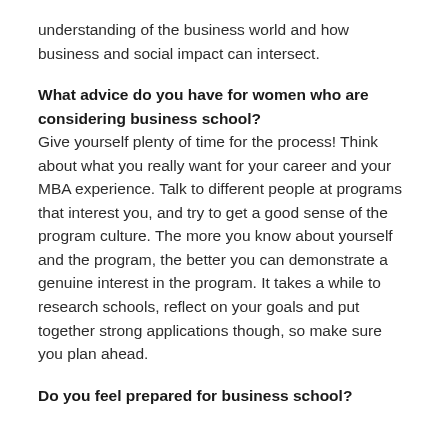understanding of the business world and how business and social impact can intersect.
What advice do you have for women who are considering business school?
Give yourself plenty of time for the process! Think about what you really want for your career and your MBA experience. Talk to different people at programs that interest you, and try to get a good sense of the program culture. The more you know about yourself and the program, the better you can demonstrate a genuine interest in the program. It takes a while to research schools, reflect on your goals and put together strong applications though, so make sure you plan ahead.
Do you feel prepared for business school?